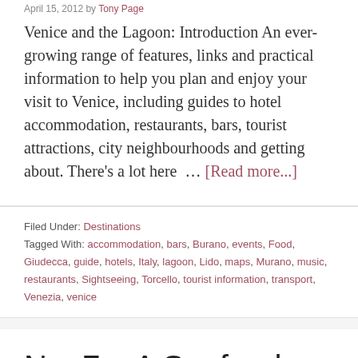April 15, 2012 by Tony Page
Venice and the Lagoon: Introduction An ever-growing range of features, links and practical information to help you plan and enjoy your visit to Venice, including guides to hotel accommodation, restaurants, bars, tourist attractions, city neighbourhoods and getting about. There's a lot here … [Read more...]
Filed Under: Destinations
Tagged With: accommodation, bars, Burano, events, Food, Giudecca, guide, hotels, Italy, lagoon, Lido, maps, Murano, music, restaurants, Sightseeing, Torcello, tourist information, transport, Venezia, venice
No. 7 – A Seafood Bistro in Torquay